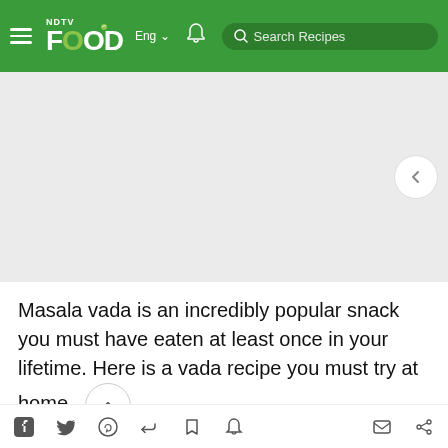NDTV FOOD Eng | Search Recipes
[Figure (photo): Light gray image placeholder area for article photo about Masala Vada]
Masala vada is an incredibly popular snack you must have eaten at least once in your lifetime. Here is a vada recipe you must try at home.
Edited by Sushmita Sengupta | Updated: November 12, 2019 14:03 IST
Social sharing icons: Facebook, Twitter, Pinterest, more